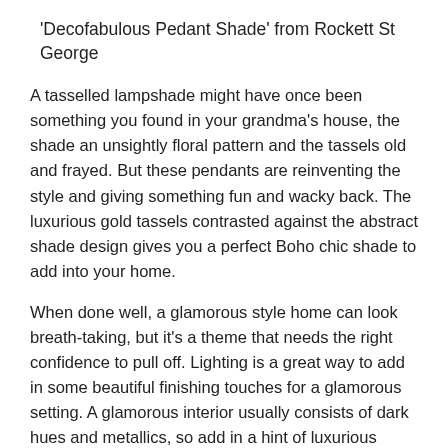'Decofabulous Pedant Shade' from Rockett St George
A tasselled lampshade might have once been something you found in your grandma's house, the shade an unsightly floral pattern and the tassels old and frayed. But these pendants are reinventing the style and giving something fun and wacky back. The luxurious gold tassels contrasted against the abstract shade design gives you a perfect Boho chic shade to add into your home.
When done well, a glamorous style home can look breath-taking, but it's a theme that needs the right confidence to pull off. Lighting is a great way to add in some beautiful finishing touches for a glamorous setting. A glamorous interior usually consists of dark hues and metallics, so add in a hint of luxurious colours with something like this Annelise table lamp from Heathfield. The careful choice